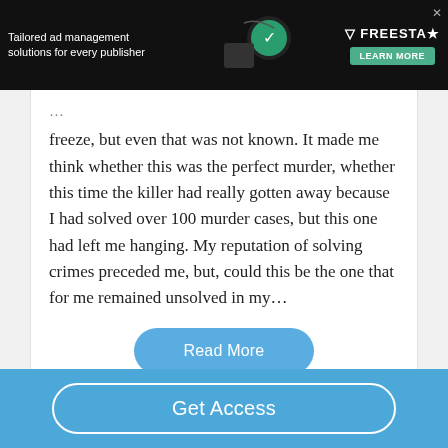[Figure (screenshot): Dark advertisement banner for Freestar ad management solutions with green Learn More button]
freeze, but even that was not known. It made me think whether this was the perfect murder, whether this time the killer had really gotten away because I had solved over 100 murder cases, but this one had left me hanging. My reputation of solving crimes preceded me, but, could this be the one that for me remained unsolved in my…
Read More
Powerful Essays
Get Access